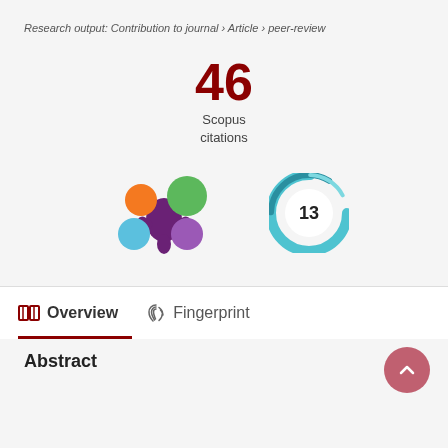Research output: Contribution to journal › Article › peer-review
46
Scopus
citations
[Figure (logo): Altmetric logo with colored circles (orange, green, blue, purple) arranged around a purple splat shape, and a circular badge showing the number 13 in teal/blue swirl]
Overview   Fingerprint
Abstract